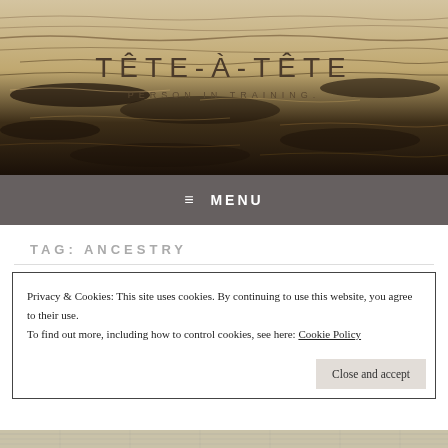[Figure (photo): Water surface with ripples in warm golden/brown tones serving as website header background image]
TÊTE-À-TÊTE
PERSON IN TRAINING.
≡ MENU
TAG: ANCESTRY
Privacy & Cookies: This site uses cookies. By continuing to use this website, you agree to their use.
To find out more, including how to control cookies, see here: Cookie Policy
Close and accept